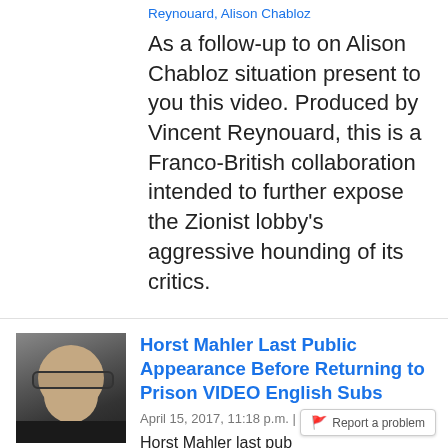Reynouard, Alison Chabloz
As a follow-up to on Alison Chabloz situation present to you this video. Produced by Vincent Reynouard, this is a Franco-British collaboration intended to further expose the Zionist lobby's aggressive hounding of its critics.
[Figure (photo): Thumbnail photo of an older man with glasses and a white/grey beard wearing a dark jacket]
Horst Mahler Last Public Appearance Before Returning to Prison VIDEO English Subs
April 15, 2017, 11:18 p.m. | by Alison Chabloz
Horst Mahler last pub